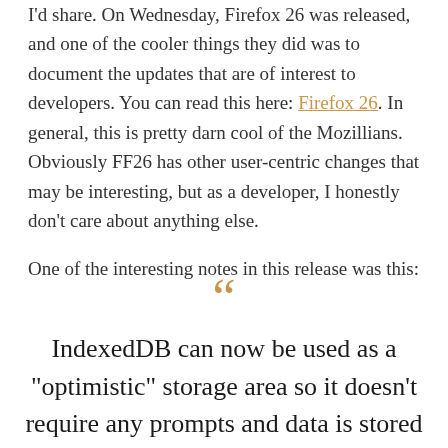I'd share. On Wednesday, Firefox 26 was released, and one of the cooler things they did was to document the updates that are of interest to developers. You can read this here: Firefox 26. In general, this is pretty darn cool of the Mozillians. Obviously FF26 has other user-centric changes that may be interesting, but as a developer, I honestly don't care about anything else.
One of the interesting notes in this release was this:
IndexedDB can now be used as a "optimistic" storage area so it doesn't require any prompts and data is stored in a pool with LRU eviction policy, in short temporary storage